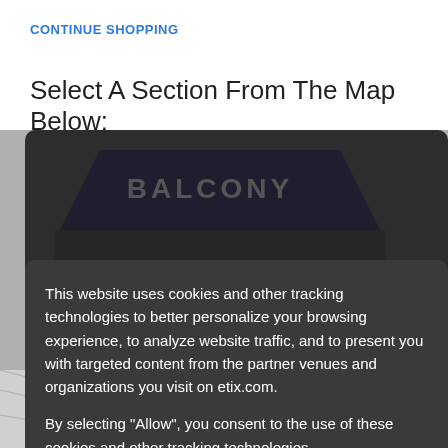CONTINUE SHOPPING
Select A Section From The Map Below:
[Figure (screenshot): Venue seating map with dark overlay showing cookie consent dialog. Background shows a dark arena seating chart with 'BALCONY' and 'SEATING' text visible. Below the modal, diagonal lines on a gray background and a purple/blue section with a blue chat icon (speech bubble with lines) are visible.]
This website uses cookies and other tracking technologies to better personalize your browsing experience, to analyze website traffic, and to present you with targeted content from the partner venues and organizations you visit on etix.com.
By selecting "Allow", you consent to the use of these cookies and other tracking technologies.
Do Not Allow
Allow